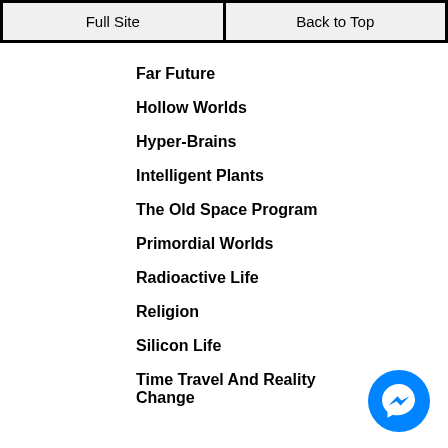Full Site | Back to Top
Far Future
Hollow Worlds
Hyper-Brains
Intelligent Plants
The Old Space Program
Primordial Worlds
Radioactive Life
Religion
Silicon Life
Time Travel And Reality Change
[Figure (other): Facebook Messenger button icon in bottom-right corner]